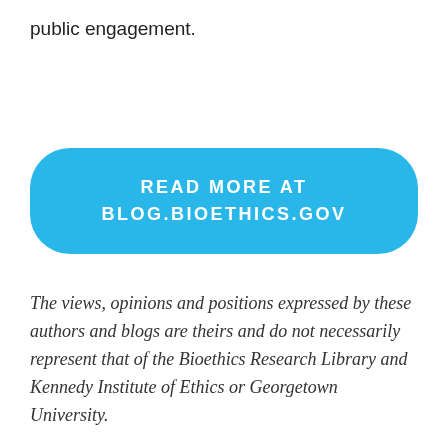public engagement.
READ MORE AT BLOG.BIOETHICS.GOV
The views, opinions and positions expressed by these authors and blogs are theirs and do not necessarily represent that of the Bioethics Research Library and Kennedy Institute of Ethics or Georgetown University.